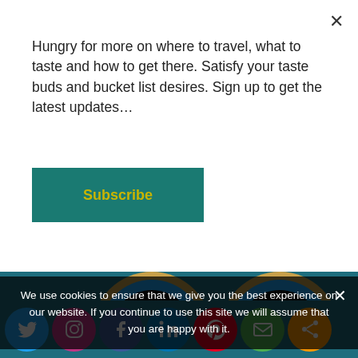Hungry for more on where to travel, what to taste and how to get there. Satisfy your taste buds and bucket list desires. Sign up to get the latest updates…
Subscribe
[Figure (illustration): USA TODAY 10Best Readers' Choice 2021 award badge - circular black badge with blue and gold ring]
[Figure (illustration): USA TODAY 10Best Readers' Choice 2022 award badge - circular black badge with blue and gold ring]
We use cookies to ensure that we give you the best experience on our website. If you continue to use this site we will assume that you are happy with it.
[Figure (infographic): Social media icons row: Twitter, Instagram, Facebook, LinkedIn, Pinterest, Email, Share]